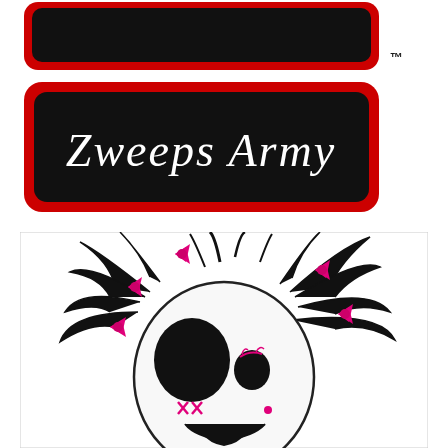[Figure (logo): Zweeps Army logo: two black rectangular badges with red borders and rounded corners, white gothic text reading 'Zweeps Army' on the lower badge, with a TM symbol in the upper right corner]
[Figure (illustration): Cartoon skull character with wild black dreadlock-style hair, large hollow eye sockets, pink/magenta X stitches on cheek, pink dot, smiling mouth, and multiple pink bow hair accessories scattered throughout the hair]